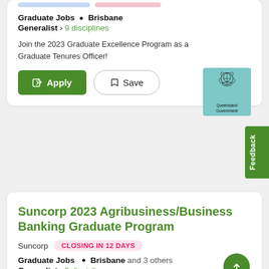Graduate Jobs • Brisbane
Generalist › 9 disciplines
Join the 2023 Graduate Excellence Program as a Graduate Tenures Officer!
[Figure (logo): Queensland Government logo on teal/cyan background square]
Suncorp 2023 Agribusiness/Business Banking Graduate Program
Suncorp  CLOSING IN 12 DAYS
Graduate Jobs • Brisbane and 3 others
Generalist › 5 disciplines